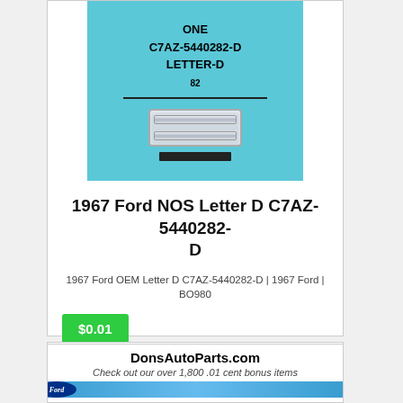[Figure (photo): Product photo of a 1967 Ford NOS Letter D C7AZ-5440282-D part in blue packaging showing chrome letter D]
1967 Ford NOS Letter D C7AZ-5440282-D
1967 Ford OEM Letter D C7AZ-5440282-D | 1967 Ford | BO980
$0.01
[Figure (photo): DonsAutoParts.com product listing banner with Ford oval logo and blue packaging background. Text: DonsAutoParts.com, Check out our over 1,800 .01 cent bonus items]